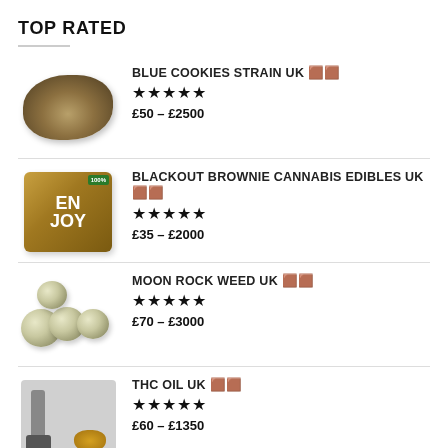TOP RATED
BLUE COOKIES STRAIN UK 🏷️ ★★★★★ £50 – £2500
BLACKOUT BROWNIE CANNABIS EDIBLES UK 🏷️ ★★★★★ £35 – £2000
MOON ROCK WEED UK 🏷️ ★★★★★ £70 – £3000
THC OIL UK 🏷️ ★★★★★ £60 – £1350